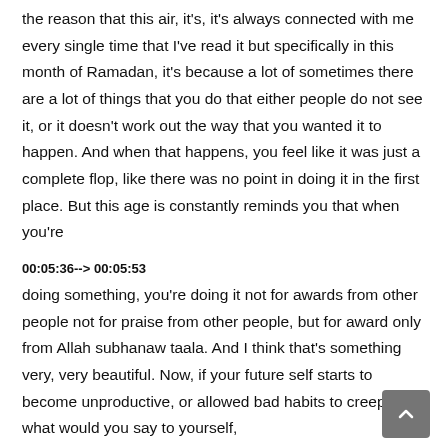the reason that this air, it's, it's always connected with me every single time that I've read it but specifically in this month of Ramadan, it's because a lot of sometimes there are a lot of things that you do that either people do not see it, or it doesn't work out the way that you wanted it to happen. And when that happens, you feel like it was just a complete flop, like there was no point in doing it in the first place. But this age is constantly reminds you that when you're
00:05:36--> 00:05:53
doing something, you're doing it not for awards from other people not for praise from other people, but for award only from Allah subhanaw taala. And I think that's something very, very beautiful. Now, if your future self starts to become unproductive, or allowed bad habits to creep in, what would you say to yourself,